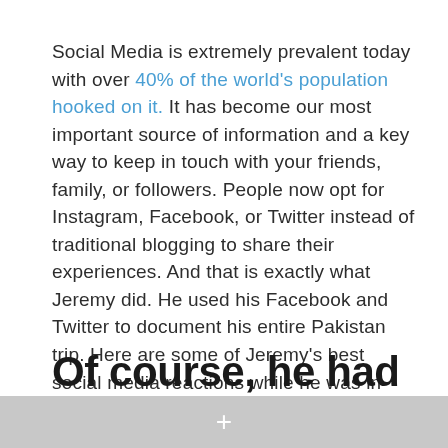Social Media is extremely prevalent today with over 40% of the world's population hooked on it. It has become our most important source of information and a key way to keep in touch with your friends, family, or followers. People now opt for Instagram, Facebook, or Twitter instead of traditional blogging to share their experiences. And that is exactly what Jeremy did. He used his Facebook and Twitter to document his entire Pakistan trip. Here are some of Jeremy's best social media reactions while he was in Pakistan!
Of course, he had to be
+